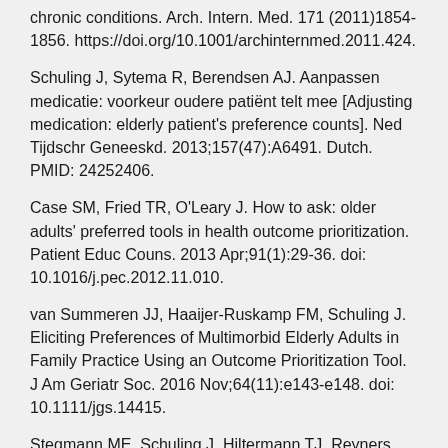chronic conditions. Arch. Intern. Med. 171 (2011)1854-1856. https://doi.org/10.1001/archinternmed.2011.424.
Schuling J, Sytema R, Berendsen AJ. Aanpassen medicatie: voorkeur oudere patiënt telt mee [Adjusting medication: elderly patient's preference counts]. Ned Tijdschr Geneeskd. 2013;157(47):A6491. Dutch. PMID: 24252406.
Case SM, Fried TR, O'Leary J. How to ask: older adults' preferred tools in health outcome prioritization. Patient Educ Couns. 2013 Apr;91(1):29-36. doi: 10.1016/j.pec.2012.11.010.
van Summeren JJ, Haaijer-Ruskamp FM, Schuling J. Eliciting Preferences of Multimorbid Elderly Adults in Family Practice Using an Outcome Prioritization Tool. J Am Geriatr Soc. 2016 Nov;64(11):e143-e148. doi: 10.1111/jgs.14415.
Stegmann ME, Schuling J, Hiltermann TJ, Reyners AK, Burger H, Berger MY, Berendsen AJ. Study protocol for the OPTion randomised controlled trial on the effect of prioritising treatment goals among older patients with cancer in a palliative setting. Maturitas. 2017 Feb;96:84-88. doi:10.1016/j.maturitas.2016.11.014.